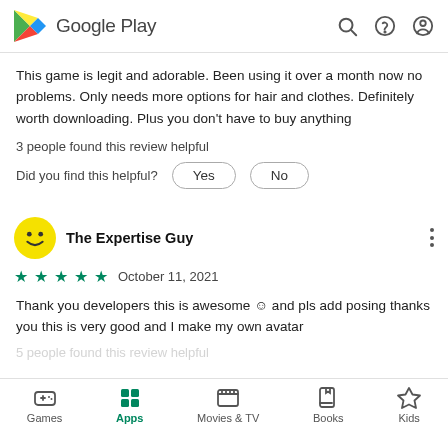Google Play
This game is legit and adorable. Been using it over a month now no problems. Only needs more options for hair and clothes. Definitely worth downloading. Plus you don't have to buy anything
3 people found this review helpful
Did you find this helpful?
The Expertise Guy
★★★★★ October 11, 2021
Thank you developers this is awesome ☺ and pls add posing thanks you this is very good and I make my own avatar
5 people found this review helpful
Games  Apps  Movies & TV  Books  Kids